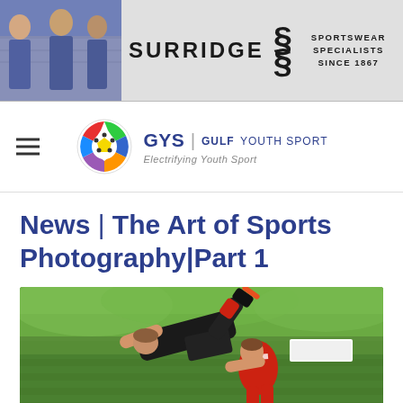[Figure (photo): Surridge sportswear banner ad showing youth athletes in purple jerseys on the left, with SURRIDGE text, double-S logo, and tagline SPORTSWEAR SPECIALISTS SINCE 1867]
[Figure (logo): GYS Gulf Youth Sport logo with colorful soccer ball icon and text GYS | GULF YOUTH SPORT / Electrifying Youth Sport]
News | The Art of Sports Photography|Part 1
[Figure (photo): Sports action photo of youth rugby players, one player airborne and diving forward while another player is grabbing/tackling, green grass field with trees in background]